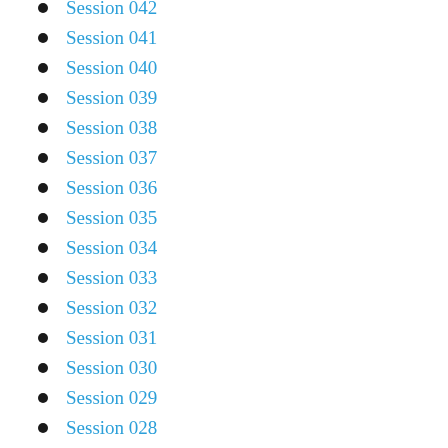Session 042
Session 041
Session 040
Session 039
Session 038
Session 037
Session 036
Session 035
Session 034
Session 033
Session 032
Session 031
Session 030
Session 029
Session 028
Session 027
Session 026